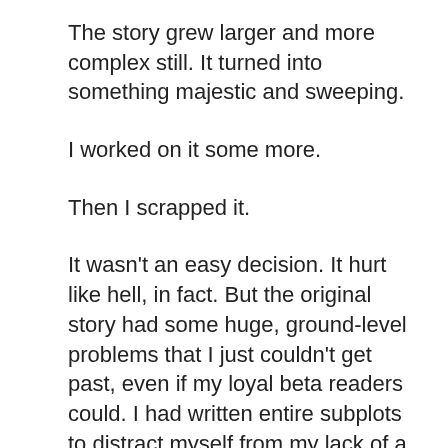The story grew larger and more complex still. It turned into something majestic and sweeping.
I worked on it some more.
Then I scrapped it.
It wasn't an easy decision. It hurt like hell, in fact. But the original story had some huge, ground-level problems that I just couldn't get past, even if my loyal beta readers could. I had written entire subplots to distract myself from my lack of a coherent ending. I had run circles around the story problems, perhaps in the hope that they would grow dizzy and fall down. And, finally, I decided that it just wasn't Daughter's time.
So I put it to rest. Then I picked through its corpse and took some shiny bits for Orison, dressing my new darling up in my dead darling's prose. Ghoulish and merciless, but